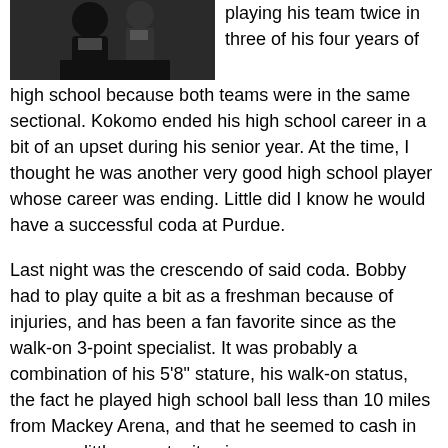[Figure (photo): Black and white photo of basketball players, partially cropped at top of page]
playing his team twice in three of his four years of high school because both teams were in the same sectional. Kokomo ended his high school career in a bit of an upset during his senior year. At the time, I thought he was another very good high school player whose career was ending. Little did I know he would have a successful coda at Purdue.
Last night was the crescendo of said coda. Bobby had to play quite a bit as a freshman because of injuries, and has been a fan favorite since as the walk-on 3-point specialist. It was probably a combination of his 5'8" stature, his walk-on status, the fact he played high school ball less than 10 miles from Mackey Arena, and that he seemed to cash in on every little opportunity given.
I and the guys at Boiled Sports have been calling on him